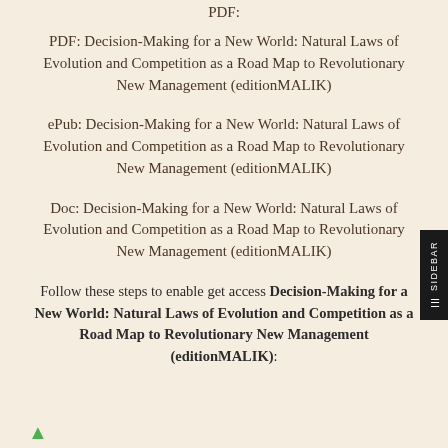PDF:
PDF: Decision-Making for a New World: Natural Laws of Evolution and Competition as a Road Map to Revolutionary New Management (editionMALIK)
ePub: Decision-Making for a New World: Natural Laws of Evolution and Competition as a Road Map to Revolutionary New Management (editionMALIK)
Doc: Decision-Making for a New World: Natural Laws of Evolution and Competition as a Road Map to Revolutionary New Management (editionMALIK)
Follow these steps to enable get access Decision-Making for a New World: Natural Laws of Evolution and Competition as a Road Map to Revolutionary New Management (editionMALIK):